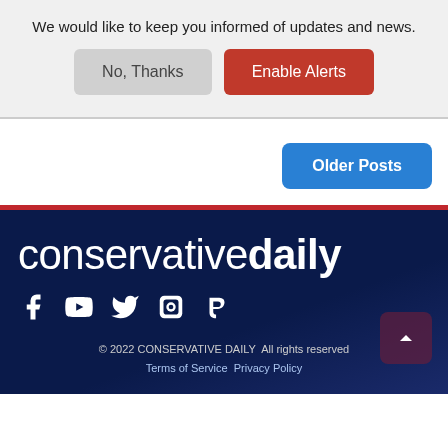We would like to keep you informed of updates and news.
No, Thanks | Enable Alerts
Older Posts
[Figure (logo): Conservative Daily logo text in white on dark navy background with social media icons (Facebook, YouTube, Twitter, Odysee, Parler)]
© 2022 CONSERVATIVE DAILY  All rights reserved  Terms of Service  Privacy Policy